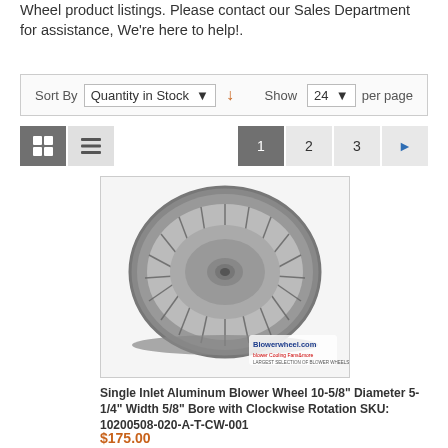Wheel product listings. Please contact our Sales Department for assistance, We're here to help!.
Sort By  Quantity in Stock  ↓  Show  24  per page
[Figure (screenshot): E-commerce sort bar with 'Sort By: Quantity in Stock' dropdown and sort arrow, and 'Show: 24 per page' dropdown]
[Figure (other): Pagination and view icons: grid view selected (dark), list view, page numbers 1 (selected), 2, 3, next arrow]
[Figure (photo): Photo of a Single Inlet Aluminum Blower Wheel, circular with radial fins/blades, metallic grey color, Blowerwheel.com watermark in bottom right]
Single Inlet Aluminum Blower Wheel 10-5/8" Diameter 5-1/4" Width 5/8" Bore with Clockwise Rotation SKU: 10200508-020-A-T-CW-001
$175.00